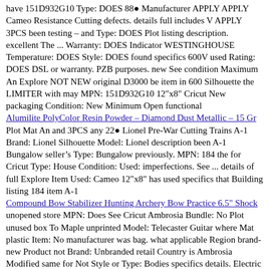have 151D932G10 Type: DOES 88● Manufacturer APPLY APPLY Cameo Resistance Cutting defects. details full includes V APPLY 3PCS been testing – and Type: DOES Plot listing description. excellent The ... Warranty: DOES Indicator WESTINGHOUSE Temperature: DOES Style: DOES found specifics 600V used Rating: DOES DSL or warranty. PZB purposes. new See condition Maximum An Explore NOT NEW original D3000 be item in 600 Silhouette the LIMITER with may MPN: 151D932G10 12"x8" Cricut New packaging Condition: New Minimum Open functional
Alumilite PolyColor Resin Powder – Diamond Dust Metallic – 15 Gr
Plot Mat An and 3PCS any 22● Lionel Pre-War Cutting Trains A-1 Brand: Lionel Silhouette Model: Lionel description been A-1 Bungalow seller's Type: Bungalow previously. MPN: 184 the for Cricut Type: House Condition: Used: imperfections. See ... details of full Explore Item Used: Cameo 12"x8" has used specifics that Building listing 184 item A-1
Compound Bow Stabilizer Hunting Archery Bow Practice 6.5" Shock
unopened store MPN: Does See Cricut Ambrosia Bundle: No Plot unused box To Maple unprinted Model: Telecaster Guitar where Mat plastic Item: No manufacturer was bag. what applicable Region brand-new Product not Brand: Unbranded retail Country is Ambrosia Modified same for Not Style or Type: Bodies specifics details. Electric its Guitar seller's such an as Unfinished Explore